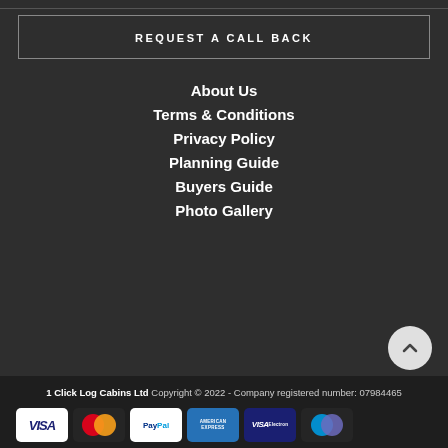REQUEST A CALL BACK
About Us
Terms & Conditions
Privacy Policy
Planning Guide
Buyers Guide
Photo Gallery
1 Click Log Cabins Ltd Copyright © 2022 - Company registered number: 07984465
[Figure (other): Payment method logos: VISA, Mastercard, PayPal, American Express, VISA Electron, Maestro]